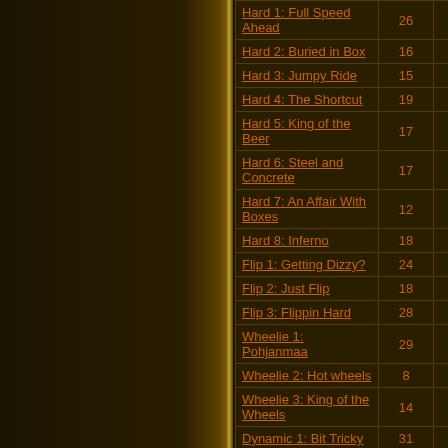| Level | Col2 | Col3 |
| --- | --- | --- |
| Hard 1: Full Speed Ahead | 26 | 0 |
| Hard 2: Buried in Box | 16 | 0 |
| Hard 3: Jumpy Ride | 15 | 0 |
| Hard 4: The Shortcut | 19 | 0 |
| Hard 5: King of the Beer | 17 | 0 |
| Hard 6: Steel and Concrete | 17 | 0 |
| Hard 7: An Affair With Boxes | 12 | 0 |
| Hard 8: Inferno | 18 | 0 |
| Flip 1: Getting Dizzy? | 24 | 0 |
| Flip 2: Just Flip | 18 | 0 |
| Flip 3: Flippin Hard | 28 | 0 |
| Wheelie 1: Pohjanmaa | 29 | 0 |
| Wheelie 2: Hot wheels | 8 | 0 |
| Wheelie 3: King of the Wheels | 14 | 0 |
| Dynamic 1: Bit Tricky | 31 | 0 |
| Dynamic 2: Fun With Physics? | 27 | 0 |